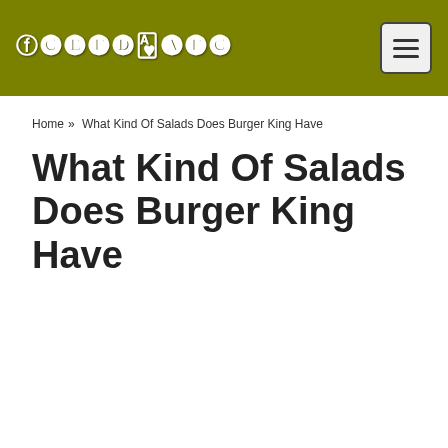FeedyDate
Home » What Kind Of Salads Does Burger King Have
What Kind Of Salads Does Burger King Have